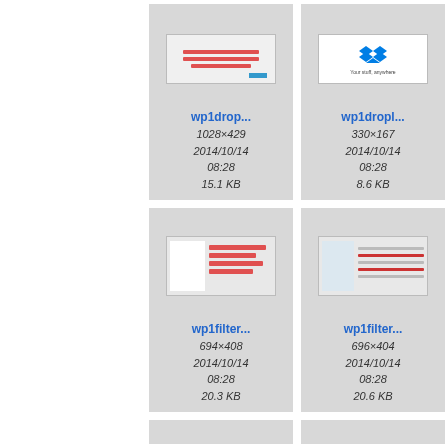[Figure (screenshot): Thumbnail of wp1drop... screenshot showing red horizontal lines on white background, 1028x429]
wp1drop...
1028×429
2014/10/14
08:28
15.1 KB
[Figure (screenshot): Thumbnail of wp1dropl... Dropbox logo with text 'Your stuff, anywhere', 330x167]
wp1dropl...
330×167
2014/10/14
08:28
8.6 KB
wp...
[Figure (screenshot): Thumbnail of wp1filter... form with red highlighted fields, 694x408]
wp1filter...
694×408
2014/10/14
08:28
20.3 KB
[Figure (screenshot): Thumbnail of wp1filter... form with filled fields, 696x404]
wp1filter...
696×404
2014/10/14
08:28
20.6 KB
wp...